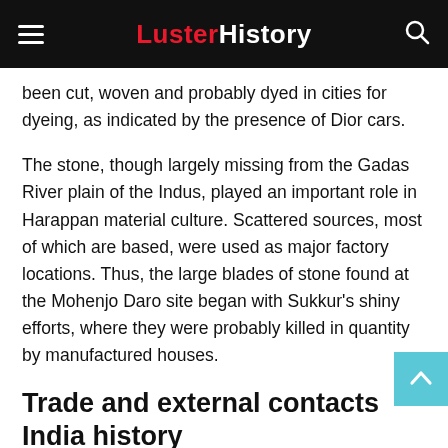LusterHistory
been cut, woven and probably dyed in cities for dyeing, as indicated by the presence of Dior cars.
The stone, though largely missing from the Gadas River plain of the Indus, played an important role in Harappan material culture. Scattered sources, most of which are based, were used as major factory locations. Thus, the large blades of stone found at the Mohenjo Daro site began with Sukkur's shiny efforts, where they were probably killed in quantity by manufactured houses.
Trade and external contacts India history
It has been observed above that there was significant